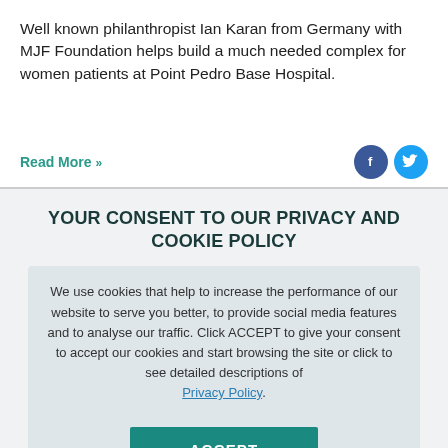Well known philanthropist Ian Karan from Germany with MJF Foundation helps build a much needed complex for women patients at Point Pedro Base Hospital.
Read More »
[Figure (illustration): Two circular social media icon buttons: Facebook (dark blue) and Twitter (light blue)]
YOUR CONSENT TO OUR PRIVACY AND COOKIE POLICY
We use cookies that help to increase the performance of our website to serve you better, to provide social media features and to analyse our traffic. Click ACCEPT to give your consent to accept our cookies and start browsing the site or click to see detailed descriptions of Privacy Policy.
ACCEPT